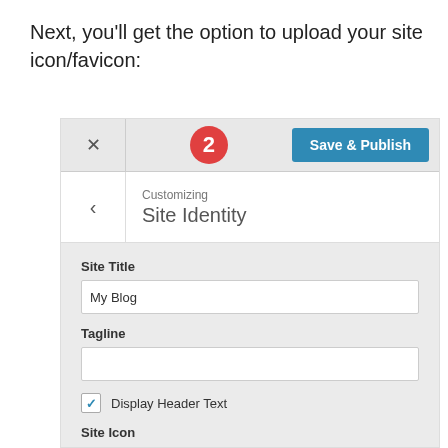Next, you’ll get the option to upload your site icon/favicon:
[Figure (screenshot): WordPress Customizer screenshot showing a top bar with an X close button, a red circle badge with number 2, and a teal 'Save & Publish' button. Below is a navigation row with a back arrow and 'Customizing / Site Identity' text. The content panel shows fields for Site Title (value: My Blog), Tagline (empty), a checked 'Display Header Text' checkbox, and a 'Site Icon' label.]